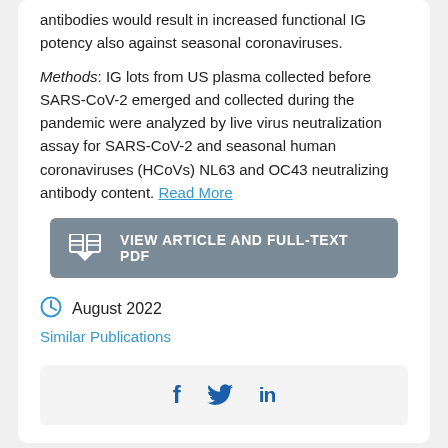antibodies would result in increased functional IG potency also against seasonal coronaviruses.
Methods: IG lots from US plasma collected before SARS-CoV-2 emerged and collected during the pandemic were analyzed by live virus neutralization assay for SARS-CoV-2 and seasonal human coronaviruses (HCoVs) NL63 and OC43 neutralizing antibody content. Read More
VIEW ARTICLE AND FULL-TEXT PDF
August 2022
Similar Publications
[Figure (other): Social media share icons: Facebook (f), Twitter (bird), LinkedIn (in)]
Development of a score for early identification of children with Kawasaki disease requiring second-line treatment: multicenter validation i...